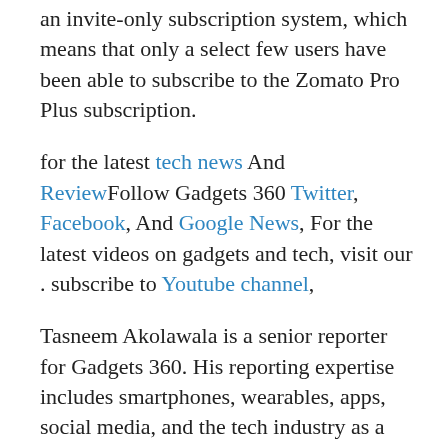an invite-only subscription system, which means that only a select few users have been able to subscribe to the Zomato Pro Plus subscription.
for the latest tech news And ReviewFollow Gadgets 360 Twitter, Facebook, And Google News, For the latest videos on gadgets and tech, visit our . subscribe to Youtube channel,
Tasneem Akolawala is a senior reporter for Gadgets 360. His reporting expertise includes smartphones, wearables, apps, social media, and the tech industry as a whole. She reports out of Mumbai, and also writes about the ups and downs in the Indian telecom sector. Tasneem can be contacted on Twitter at @MuteRiot, and leads, tips and releases can be sent to